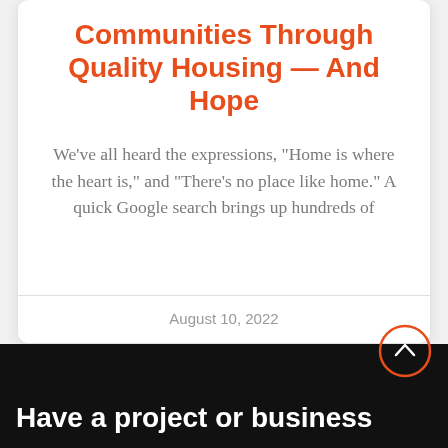Communities Through Quality Housing — And Hope
We’ve all heard the expressions, “Home is where the heart is,” and “There’s no place like home.” A quick Google search brings up hundreds of
August 10, 2022
Have a project or business